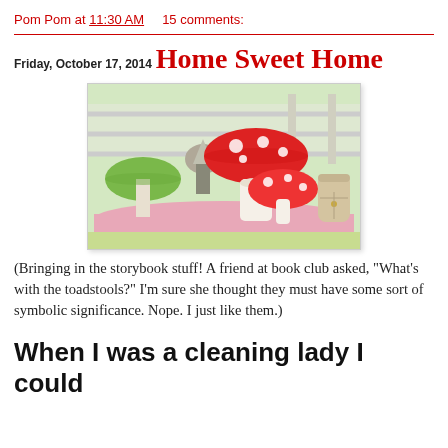Pom Pom at 11:30 AM    15 comments:
Friday, October 17, 2014
Home Sweet Home
[Figure (photo): Garden decorations on a pink table: a green mushroom figure, a gnome, two red-and-white polka dot toadstools, and a small fairy door, with green grass and a white fence in the background.]
(Bringing in the storybook stuff!  A friend at book club asked, "What's with the toadstools?" I'm sure she thought they must have some sort of symbolic significance.  Nope. I just like them.)
When I was a cleaning lady I could